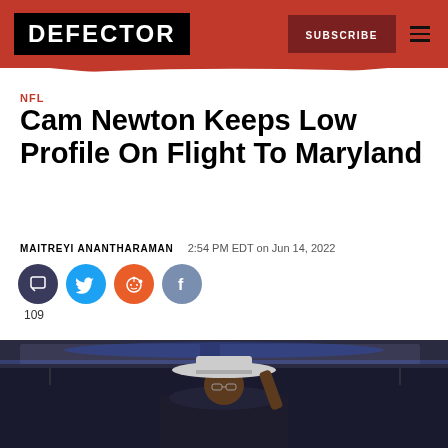DEFECTOR | SUBSCRIBE
NFL
Cam Newton Keeps Low Profile On Flight To Maryland
MAITREYI ANANTHARAMAN   2:54 PM EDT on Jun 14, 2022
[Figure (other): Social share icons: comment (109), Twitter, Reddit, Facebook]
[Figure (photo): Photo of Cam Newton on a plane wearing a large wide-brim hat, taken from below against blue airplane interior lighting]